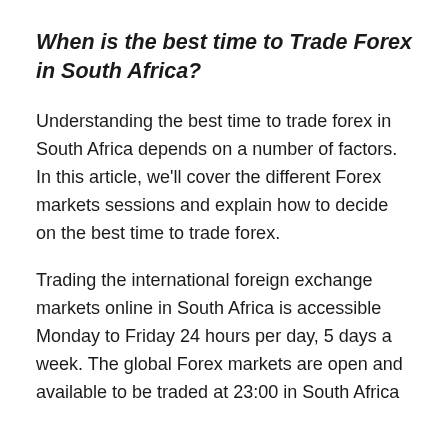When is the best time to Trade Forex in South Africa?
Understanding the best time to trade forex in South Africa depends on a number of factors. In this article, we'll cover the different Forex markets sessions and explain how to decide on the best time to trade forex.
Trading the international foreign exchange markets online in South Africa is accessible Monday to Friday 24 hours per day, 5 days a week. The global Forex markets are open and available to be traded at 23:00 in South Africa